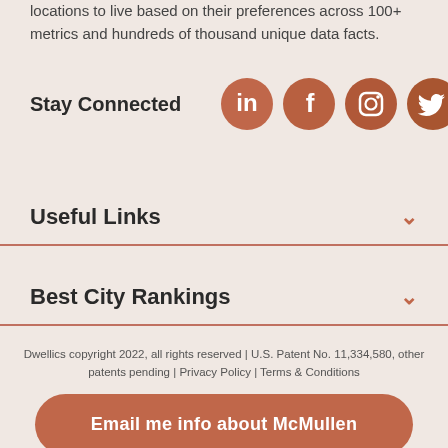locations to live based on their preferences across 100+ metrics and hundreds of thousand unique data facts.
Stay Connected
[Figure (illustration): Four social media icons (LinkedIn, Facebook, Instagram, Twitter) as white icons on terracotta/brown circular backgrounds.]
Useful Links
Best City Rankings
Dwellics copyright 2022, all rights reserved | U.S. Patent No. 11,334,580, other patents pending | Privacy Policy | Terms & Conditions
Email me info about McMullen